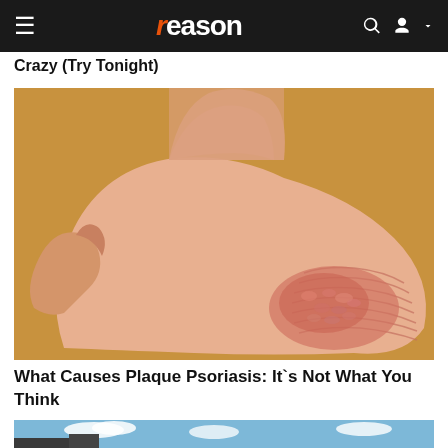reason
Crazy (Try Tonight)
[Figure (photo): Close-up photograph of the bottom of a human foot showing dry, cracked, and reddish skin consistent with plaque psoriasis on the heel, against a tan/ochre background.]
What Causes Plaque Psoriasis: It`s Not What You Think
[Figure (photo): Partial view of an outdoor scene with sky and what appears to be a vehicle or structure, partially visible at the bottom of the page.]